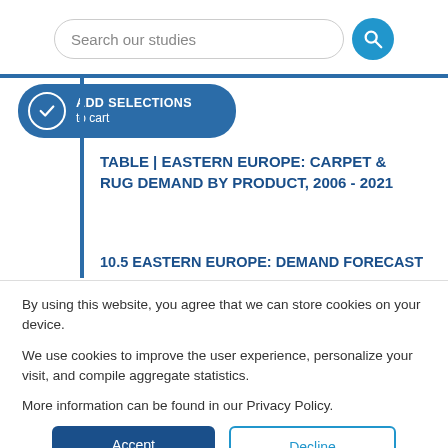Search our studies
ADD SELECTIONS to cart
TABLE | EASTERN EUROPE: CARPET & RUG DEMAND BY PRODUCT, 2006 - 2021
10.5 EASTERN EUROPE: DEMAND FORECAST
By using this website, you agree that we can store cookies on your device.
We use cookies to improve the user experience, personalize your visit, and compile aggregate statistics.
More information can be found in our Privacy Policy.